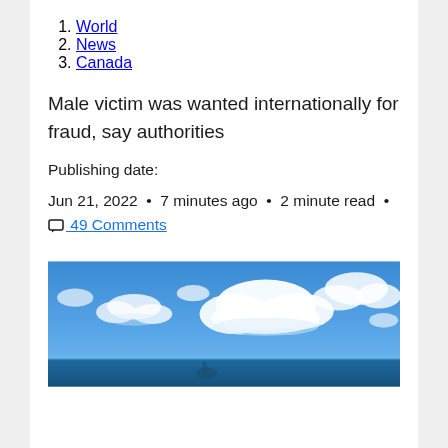1. World
2. News
3. Canada
Male victim was wanted internationally for fraud, say authorities
Publishing date:
Jun 21, 2022  •  7 minutes ago  •  2 minute read  •  49 Comments
[Figure (photo): Outdoor photo showing a blue sky with white clouds over what appears to be a body of water or ocean horizon]